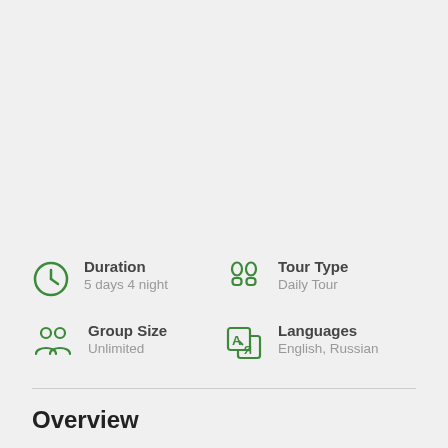[Figure (infographic): Tour info grid with 4 icons and labels: Duration (clock icon) - 5 days 4 night; Tour Type (footprints icon) - Daily Tour; Group Size (people icon) - Unlimited; Languages (translation icon) - English, Russian]
Overview